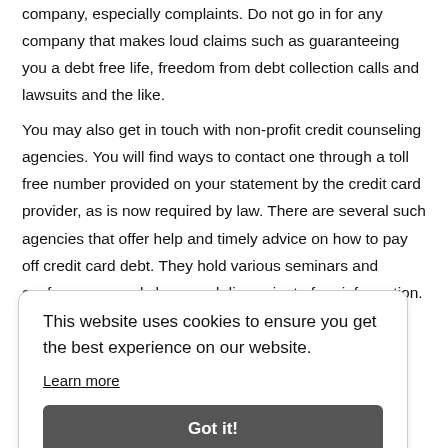company, especially complaints. Do not go in for any company that makes loud claims such as guaranteeing you a debt free life, freedom from debt collection calls and lawsuits and the like.
You may also get in touch with non-profit credit counseling agencies. You will find ways to contact one through a toll free number provided on your statement by the credit card provider, as is now required by law. There are several such agencies that offer help and timely advice on how to pay off credit card debt. They hold various seminars and conferences, workshops and disseminate free information.
...portion of ...preseen ...y. Once ...the ...avings account and make it a principle to have at least 6 months living
[Figure (screenshot): Cookie consent banner overlay reading: 'This website uses cookies to ensure you get the best experience on our website. Learn more' with a 'Got it!' button.]